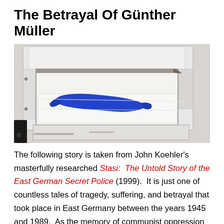The Betrayal Of Günther Müller
[Figure (photo): A white metal bed frame or door with an open hatch/panel revealing a blue garment laid on white bedding inside; a black object visible at lower left corner. Appears to be a Stasi prison cell or interrogation room exhibit.]
The following story is taken from John Koehler's masterfully researched Stasi: The Untold Story of the East German Secret Police (1999). It is just one of countless tales of tragedy, suffering, and betrayal that took place in East Germany between the years 1945 and 1989. As the memory of communist oppression continues